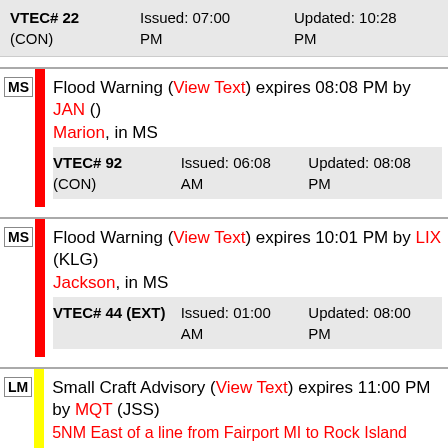| VTEC# | Issued | Updated |
| --- | --- | --- |
| VTEC# 22 (CON) | Issued: 07:00 PM | Updated: 10:28 PM |
| State | Alert | Location | VTEC |
| --- | --- | --- | --- |
| MS | Flood Warning (View Text) expires 08:08 PM by JAN () | Marion, in MS | VTEC# 92 (CON) | Issued: 06:08 AM | Updated: 08:08 PM |
| State | Alert | Location | VTEC |
| --- | --- | --- | --- |
| MS | Flood Warning (View Text) expires 10:01 PM by LIX (KLG) | Jackson, in MS | VTEC# 44 (EXT) | Issued: 01:00 AM | Updated: 08:00 PM |
| State | Alert | Location |
| --- | --- | --- |
| LM | Small Craft Advisory (View Text) expires 11:00 PM by MQT (JSS) | 5NM East of a line from Fairport MI to Rock Island |